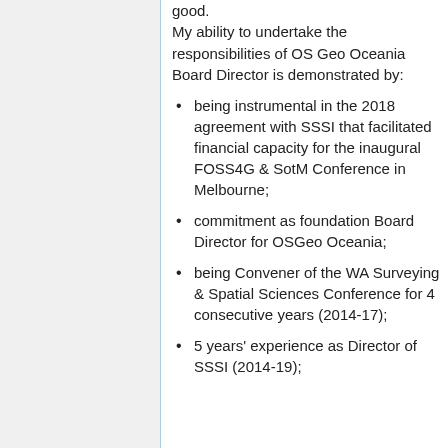good.
My ability to undertake the responsibilities of OS Geo Oceania Board Director is demonstrated by:
being instrumental in the 2018 agreement with SSSI that facilitated financial capacity for the inaugural FOSS4G & SotM Conference in Melbourne;
commitment as foundation Board Director for OSGeo Oceania;
being Convener of the WA Surveying & Spatial Sciences Conference for 4 consecutive years (2014-17);
5 years' experience as Director of SSSI (2014-19);